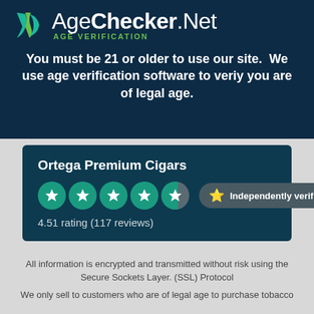[Figure (logo): AgeChecker.Net logo with green and teal ribbon icon, brand name, and AGE VERIFICATION subtitle]
You must be 21 or older to use our site.  We use age verification software to veriy you are of legal age.
Ortega Premium Cigars
[Figure (infographic): 4.5 out of 5 star rating shown as teal star circles, with Independently verified badge]
4.51 rating (117 reviews)
All information is encrypted and transmitted without risk using the Secure Sockets Layer. (SSL) Protocol
We only sell to customers who are of legal age to purchase tobacco